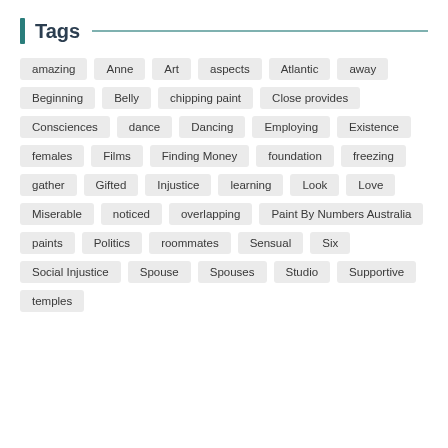Tags
amazing
Anne
Art
aspects
Atlantic
away
Beginning
Belly
chipping paint
Close provides
Consciences
dance
Dancing
Employing
Existence
females
Films
Finding Money
foundation
freezing
gather
Gifted
Injustice
learning
Look
Love
Miserable
noticed
overlapping
Paint By Numbers Australia
paints
Politics
roommates
Sensual
Six
Social Injustice
Spouse
Spouses
Studio
Supportive
temples